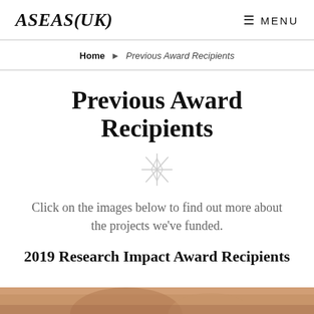ASEAS(UK)
Home ▶ Previous Award Recipients
Previous Award Recipients
[Figure (illustration): Decorative sparkle/compass star ornament in light grey]
Click on the images below to find out more about the projects we've funded.
2019 Research Impact Award Recipients
[Figure (photo): Bottom edge of a photograph showing people, partially visible at the bottom of the page]